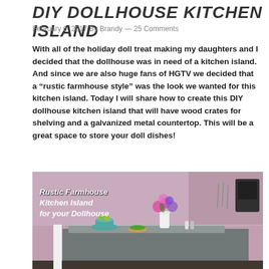DIY DOLLHOUSE KITCHEN ISLAND
February 6, 2017 By Brandy — 25 Comments
With all of the holiday doll treat making my daughters and I decided that the dollhouse was in need of a kitchen island. And since we are also huge fans of HGTV we decided that a “rustic farmhouse style” was the look we wanted for this kitchen island. Today I will share how to create this DIY dollhouse kitchen island that will have wood crates for shelving and a galvanized metal countertop. This will be a great space to store your doll dishes!
[Figure (photo): Dollhouse miniature kitchen scene with a rustic farmhouse style kitchen island featuring a galvanized metal countertop. On the island are miniature items including a teal kitchen scale with green apples, a small decorative tart, a white vase with pink and purple flowers, and small salt and pepper shakers. The dollhouse kitchen has pink walls and cabinetry visible in the background. Text overlay reads: Rustic Farmhouse Kitchen Island for your Dollhouse]